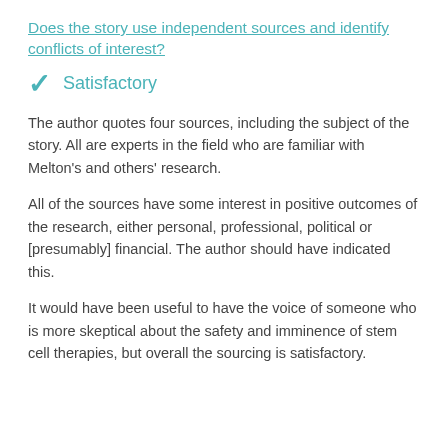Does the story use independent sources and identify conflicts of interest?
✓ Satisfactory
The author quotes four sources, including the subject of the story. All are experts in the field who are familiar with Melton's and others' research.
All of the sources have some interest in positive outcomes of the research, either personal, professional, political or [presumably] financial. The author should have indicated this.
It would have been useful to have the voice of someone who is more skeptical about the safety and imminence of stem cell therapies, but overall the sourcing is satisfactory.